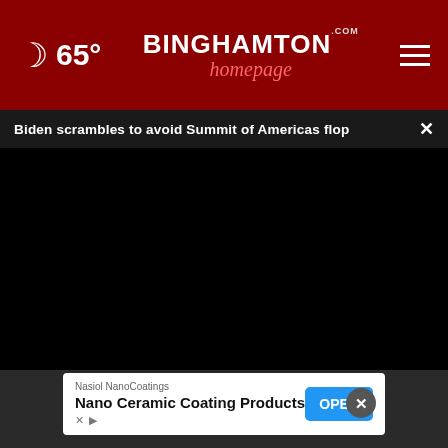65° Binghamton Homepage
Biden scrambles to avoid Summit of Americas flop
[Figure (screenshot): Black video player area embedded in news webpage]
Nasiol NanoCoatings
Nano Ceramic Coating Products
OPEN